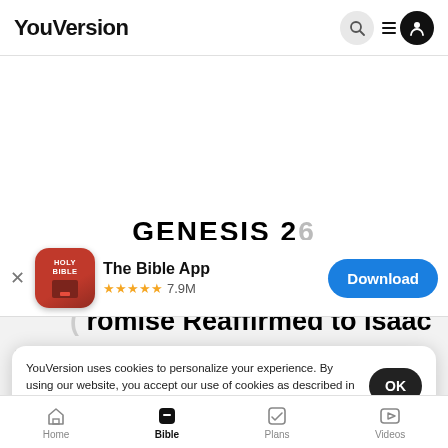YouVersion
[Figure (screenshot): YouVersion website showing Genesis chapter, with app download banner for The Bible App (★★★★★ 7.9M, Download button), cookie consent modal ('YouVersion uses cookies to personalize your experience. By using our website, you accept our use of cookies as described in our Privacy Policy.' with OK button), and partial text 'Promise Reaffirmed to Isaac' and verse 1. Bottom navigation bar with Home, Bible (active), Plans, Videos.]
The Bible App
★★★★★ 7.9M
Download
Promise Reaffirmed to Isaac
YouVersion uses cookies to personalize your experience. By using our website, you accept our use of cookies as described in our Privacy Policy.
OK
Home   Bible   Plans   Videos